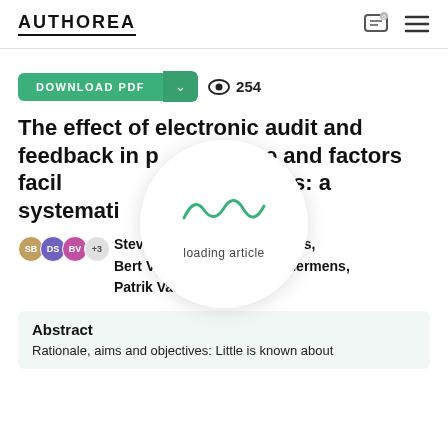AUTHOREA
[Figure (screenshot): Download PDF button with view count of 254]
The effect of electronic audit and feedback in primary care and factors facilitating its effectiveness: a systematic review
Steve Willems, David Spitaels, Bert Vaes, ..., Rosella Hermens, Patrik Vankrunketsven
Abstract
Rationale, aims and objectives: Little is known about